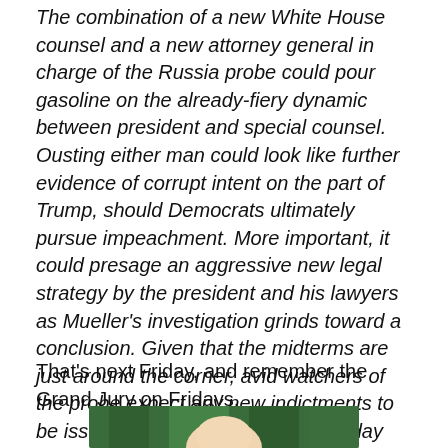The combination of a new White House counsel and a new attorney general in charge of the Russia probe could pour gasoline on the already-fiery dynamic between president and special counsel. Ousting either man could look like further evidence of corrupt intent on the part of Trump, should Democrats ultimately pursue impeachment. More important, it could presage an aggressive new legal strategy by the president and his lawyers as Mueller's investigation grinds toward a conclusion. Given that the midterms are just around the corner, avid watchers of the probe expect any new indictments to be issued by September 7—the 60-day mark before the elections—in order to avoid the appearance of partisanship.
That's next Friday, and remember the Grand Jury on Fridays.
[Figure (photo): Partial photo of a person outdoors with green foliage background, partially cropped at bottom of page]